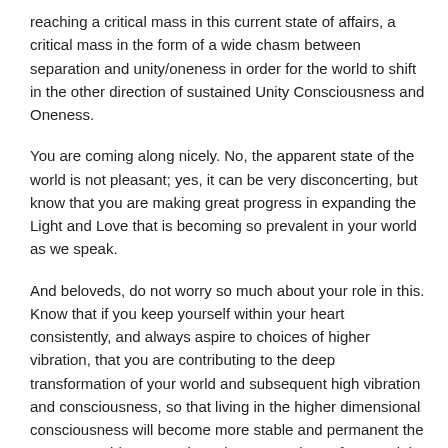reaching a critical mass in this current state of affairs, a critical mass in the form of a wide chasm between separation and unity/oneness in order for the world to shift in the other direction of sustained Unity Consciousness and Oneness.
You are coming along nicely. No, the apparent state of the world is not pleasant; yes, it can be very disconcerting, but know that you are making great progress in expanding the Light and Love that is becoming so prevalent in your world as we speak.
And beloveds, do not worry so much about your role in this. Know that if you keep yourself within your heart consistently, and always aspire to choices of higher vibration, that you are contributing to the deep transformation of your world and subsequent high vibration and consciousness, so that living in the higher dimensional consciousness will become more stable and permanent the more you address your intentions as such — of Love, Light and Peace to prevail in the world.